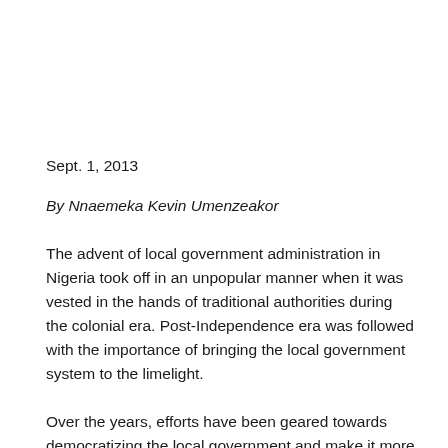Sept. 1, 2013
By Nnaemeka Kevin Umenzeakor
The advent of local government administration in Nigeria took off in an unpopular manner when it was vested in the hands of traditional authorities during the colonial era. Post-Independence era was followed with the importance of bringing the local government system to the limelight.
Over the years, efforts have been geared towards democratizing the local government and make it more